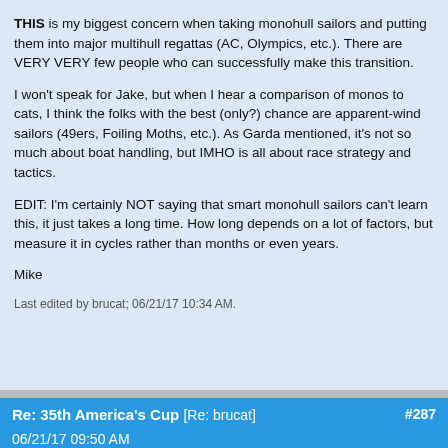THIS is my biggest concern when taking monohull sailors and putting them into major multihull regattas (AC, Olympics, etc.). There are VERY VERY few people who can successfully make this transition.

I won't speak for Jake, but when I hear a comparison of monos to cats, I think the folks with the best (only?) chance are apparent-wind sailors (49ers, Foiling Moths, etc.). As Garda mentioned, it's not so much about boat handling, but IMHO is all about race strategy and tactics.

EDIT: I'm certainly NOT saying that smart monohull sailors can't learn this, it just takes a long time. How long depends on a lot of factors, but measure it in cycles rather than months or even years.

Mike
Last edited by brucat; 06/21/17 10:34 AM.
Re: 35th America's Cup [Re: brucat] #287
06/21/17 09:50 AM
Jake
Carpal Tunnel
Joined: Jun 2
Posts: 12,310
South Carolin